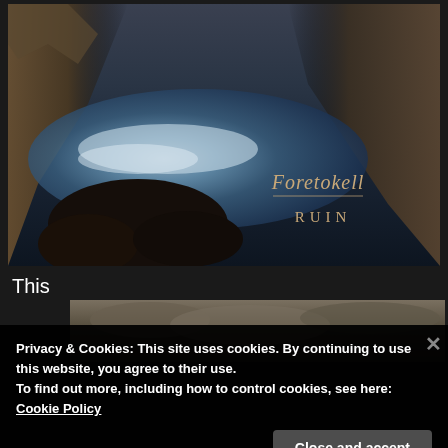[Figure (photo): Album cover for 'Ruin' by Foretokell — rocky coastal cliffs with crashing ocean waves, dark atmospheric painting. Band name 'Foretokell' and album title 'Ruin' in ornate serif lettering in lower right.]
This
[Figure (photo): Partial second image visible — dark cloudy sky landscape, partially obscured by cookie consent banner.]
Privacy & Cookies: This site uses cookies. By continuing to use this website, you agree to their use.
To find out more, including how to control cookies, see here:
Cookie Policy
Close and accept